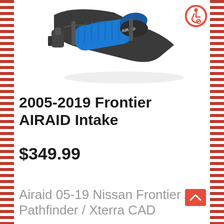[Figure (photo): AIRAID air intake filter product photo — dark grey plastic housing with blue filter element, AIRAID branding visible]
2005-2019 Frontier AIRAID Intake
$349.99
Airaid 05-19 Nissan Frontier / Pathfinder / Xterra CAD